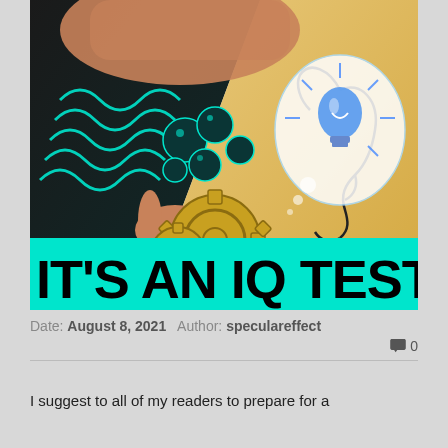[Figure (illustration): Illustrated artwork showing a human figure with gears, teal coils, dark circuit-like spheres on left side, and a side-profile face with a thought bubble containing a glowing blue lightbulb on the right side. Artist credit: @BRETT.N.ALLBRIGHT. Large text overlay at bottom on cyan/teal background reads IT'S AN IQ TEST in bold black uppercase letters.]
Date: August 8, 2021  Author: speculareffect
💬 0
I suggest to all of my readers to prepare for a